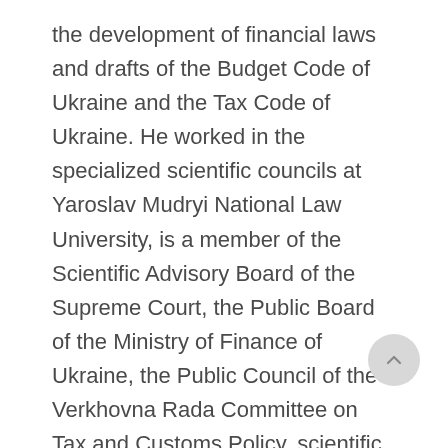the development of financial laws and drafts of the Budget Code of Ukraine and the Tax Code of Ukraine. He worked in the specialized scientific councils at Yaroslav Mudryi National Law University, is a member of the Scientific Advisory Board of the Supreme Court, the Public Board of the Ministry of Finance of Ukraine, the Public Council of the Verkhovna Rada Committee on Tax and Customs Policy, scientific advisory council of the State Tax Service of Ukraine, as well as a member of the editorial boards of 7 professional scientific publications of Ukraine.
Prof. Kucheriavenko combines teaching work with research. For a long time he worked as